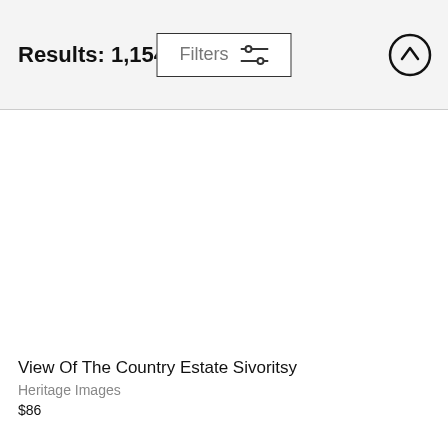Results: 1,154
View Of The Country Estate Sivoritsy
Heritage Images
$86